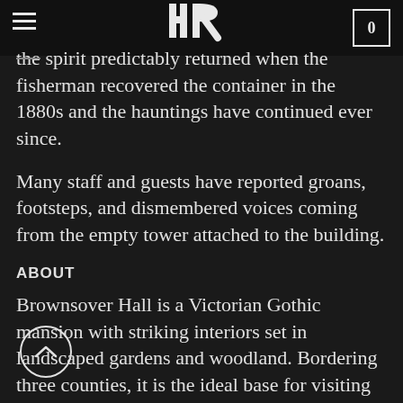HR logo / navigation bar with hamburger menu and cart icon showing 0
the spirit predictably returned when the fisherman recovered the container in the 1880s and the hauntings have continued ever since.
Many staff and guests have reported groans, footsteps, and dismembered voices coming from the empty tower attached to the building.
ABOUT
Brownsover Hall is a Victorian Gothic mansion with striking interiors set in landscaped gardens and woodland. Bordering three counties, it is the ideal base for visiting Warwick, Stratford-upon-